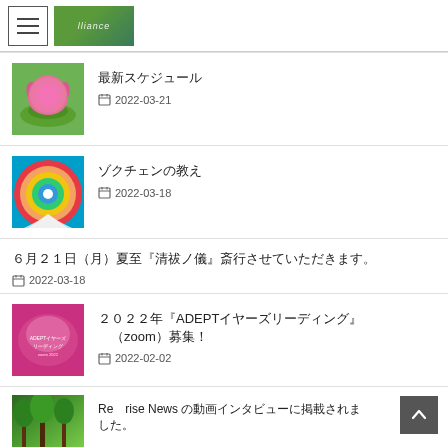最新スケジュール
2022-03-21
ゾクチェンの教え
2022-03-18
６月２１日（月）夏至『清祓ノ儀』斎行させていただきます。
2022-03-18
２０２２年『ADEPTイヤーズリーディング』（zoom）募集！
2022-02-02
Re　rise News の動画インタビューに掲載されました。